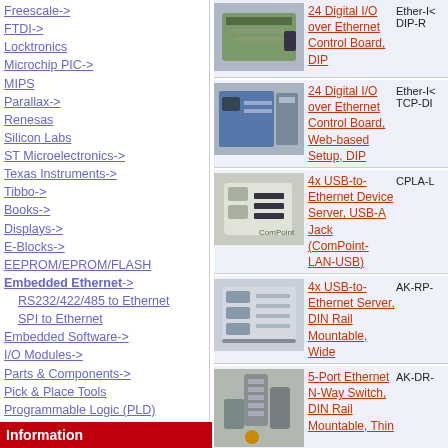Freescale->
FTDI->
Locktronics
Microchip PIC->
MIPS
Parallax->
Renesas
Silicon Labs
ST Microelectronics->
Texas Instruments->
Tibbo->
Books->
Displays->
E-Blocks->
EEPROM/EPROM/FLASH
Embedded Ethernet->
RS232/422/485 to Ethernet
SPI to Ethernet
Embedded Software->
I/O Modules->
Parts & Components->
Pick & Place Tools
Programmable Logic (PLD)
Prototype PCBs->
Robotics
ROM/Flash Emulators
Test & Measurement->
Tutorial Software
Universal Programmers->
Wireless->
Information
[Figure (photo): 24 Digital I/O over Ethernet Control Board, DIP - circuit board product photo]
24 Digital I/O over Ethernet Control Board, DIP
Ether-IO DIP-R
[Figure (photo): 24 Digital I/O over Ethernet Control Board, Web-based Setup, DIP - product photo]
24 Digital I/O over Ethernet Control Board, Web-based Setup, DIP
Ether-IO TCP-DI
[Figure (photo): 4x USB-to-Ethernet Device Server USB-A Jack (ComPoint-LAN-USB) product photo]
4x USB-to-Ethernet Device Server, USB-A Jack (ComPoint-LAN-USB)
CPLA-L
[Figure (photo): 4x USB-to-Ethernet Server, DIN Rail Mountable, Wide - product photo]
4x USB-to-Ethernet Server, DIN Rail Mountable, Wide
AK-RP-
[Figure (photo): 5-Port Ethernet N-Way Switch, DIN Rail Mountable, Thin - product photo]
5-Port Ethernet N-Way Switch, DIN Rail Mountable, Thin
AK-DR-